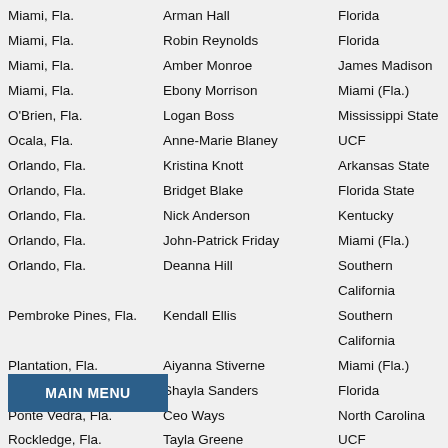Miami, Fla. | Arman Hall | Florida
Miami, Fla. | Robin Reynolds | Florida
Miami, Fla. | Amber Monroe | James Madison
Miami, Fla. | Ebony Morrison | Miami (Fla.)
O'Brien, Fla. | Logan Boss | Mississippi State
Ocala, Fla. | Anne-Marie Blaney | UCF
Orlando, Fla. | Kristina Knott | Arkansas State
Orlando, Fla. | Bridget Blake | Florida State
Orlando, Fla. | Nick Anderson | Kentucky
Orlando, Fla. | John-Patrick Friday | Miami (Fla.)
Orlando, Fla. | Deanna Hill | Southern California
Pembroke Pines, Fla. | Kendall Ellis | Southern California
Plantation, Fla. | Aiyanna Stiverne | Miami (Fla.)
Pompano Beach, Fla. | Shayla Sanders | Florida
Ponte Vedra, Fla. | Ceo Ways | North Carolina
Rockledge, Fla. | Tayla Greene | UCF
Sebring, Fla. | Taylor Tubbs | Florida
St. Petersburg, Fla. | TJ Holmes | Florida
Tallahassee, Fla. | Darrielle McQueen | Florida
Tallahassee, Fla. | John Burt | Texas
Wellington, Fla. | Jayla Bostic | Florida
Winter Garden, Fla. | Der'Renae Freeman | Florida State
Acworth, Ga. | Tray Oates | Samford
A... | Reggie Lewis | Arizona State
Albany, Ga. | Mimi Land | Clemson